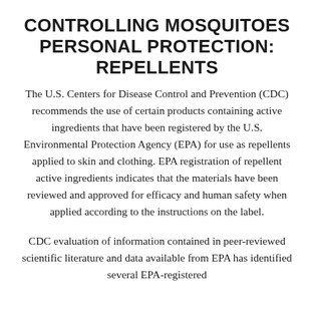CONTROLLING MOSQUITOES PERSONAL PROTECTION: REPELLENTS
The U.S. Centers for Disease Control and Prevention (CDC) recommends the use of certain products containing active ingredients that have been registered by the U.S. Environmental Protection Agency (EPA) for use as repellents applied to skin and clothing. EPA registration of repellent active ingredients indicates that the materials have been reviewed and approved for efficacy and human safety when applied according to the instructions on the label.
CDC evaluation of information contained in peer-reviewed scientific literature and data available from EPA has identified several EPA-registered